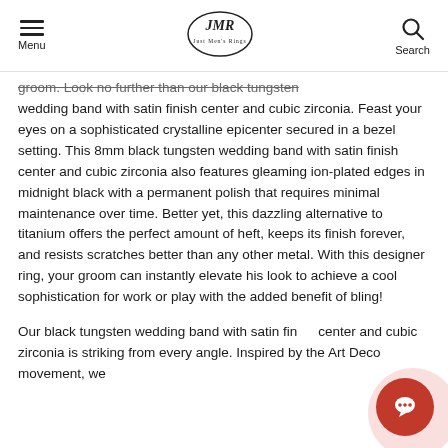Menu | JMR Logo | Search
groom. Look no further than our black tungsten wedding band with satin finish center and cubic zirconia. Feast your eyes on a sophisticated crystalline epicenter secured in a bezel setting. This 8mm black tungsten wedding band with satin finish center and cubic zirconia also features gleaming ion-plated edges in midnight black with a permanent polish that requires minimal maintenance over time. Better yet, this dazzling alternative to titanium offers the perfect amount of heft, keeps its finish forever, and resists scratches better than any other metal. With this designer ring, your groom can instantly elevate his look to achieve a cool sophistication for work or play with the added benefit of bling!
Our black tungsten wedding band with satin finish center and cubic zirconia is striking from every angle. Inspired by the Art Deco movement, we…